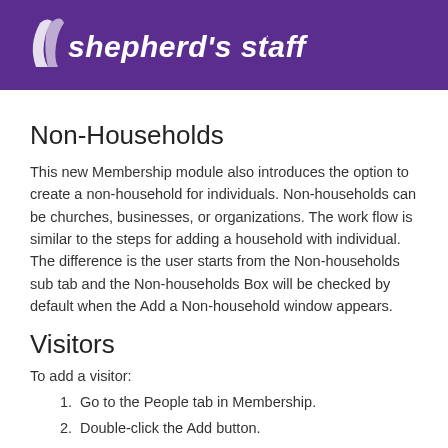shepherd's staff
Non-Households
This new Membership module also introduces the option to create a non-household for individuals. Non-households can be churches, businesses, or organizations. The work flow is similar to the steps for adding a household with individual. The difference is the user starts from the Non-households sub tab and the Non-households Box will be checked by default when the Add a Non-household window appears.
Visitors
To add a visitor:
Go to the People tab in Membership.
Double-click the Add button.